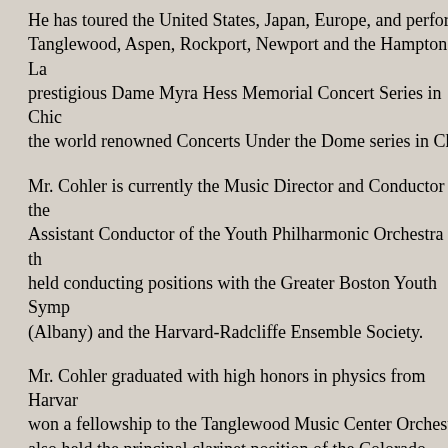He has toured the United States, Japan, Europe, and performed at Tanglewood, Aspen, Rockport, Newport and the Hamptons. La prestigious Dame Myra Hess Memorial Concert Series in Chicago the world renowned Concerts Under the Dome series in Chicago.
Mr. Cohler is currently the Music Director and Conductor of the Assistant Conductor of the Youth Philharmonic Orchestra of the held conducting positions with the Greater Boston Youth Symphony (Albany) and the Harvard-Radcliffe Ensemble Society.
Mr. Cohler graduated with high honors in physics from Harvard, won a fellowship to the Tanglewood Music Center Orchestra, also held the principal clarinet position of the Colorado Philharmonic, featured on both Cable Television and National Public Radio. chamber music and conducting faculties of the New England Conservatory since 1983.
© 1996 Ongaku Records, Inc.
Portions Copyright © by Mark Charette, Webmaster. All articles © the respective authors. Contact Webmaster for reprint information. No inlining of these pages allowed. Copyright and Warranty specifics.